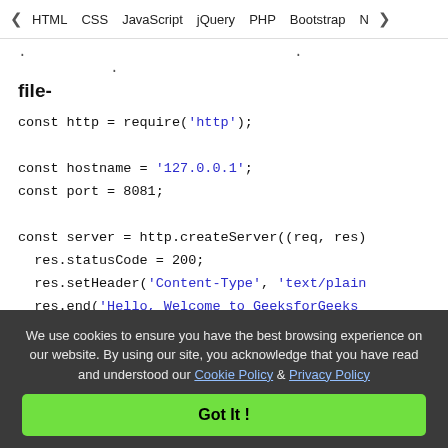< HTML   CSS   JavaScript   jQuery   PHP   Bootstrap   N>
. . .
file-
const http = require('http');

const hostname = '127.0.0.1';
const port = 8081;

const server = http.createServer((req, res)
  res.statusCode = 200;
  res.setHeader('Content-Type', 'text/plain
  res.end('Hello, Welcome to GeeksforGeeks
});

server.listen(port, hostname, () => {
We use cookies to ensure you have the best browsing experience on our website. By using our site, you acknowledge that you have read and understood our Cookie Policy & Privacy Policy
Got It !